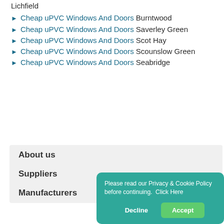Cheap uPVC Windows And Doors Burntwood
Cheap uPVC Windows And Doors Saverley Green
Cheap uPVC Windows And Doors Scot Hay
Cheap uPVC Windows And Doors Scounslow Green
Cheap uPVC Windows And Doors Seabridge
About us
Suppliers
Manufacturers
Please read our Privacy & Cookie Policy before continuing.  Click Here